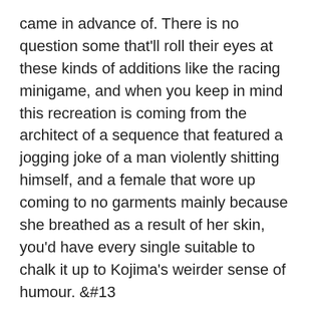came in advance of. There is no question some that'll roll their eyes at these kinds of additions like the racing minigame, and when you keep in mind this recreation is coming from the architect of a sequence that featured a jogging joke of a man violently shitting himself, and a female that wore up coming to no garments mainly because she breathed as a result of her skin, you'd have every single suitable to chalk it up to Kojima's weirder sense of humour. &#13
&#13
Death Stranding Director's Slash does are worthy of to be judged on its have deserves, yes, but it also begs analysing in the context of who spearheaded the creation of this video game. The